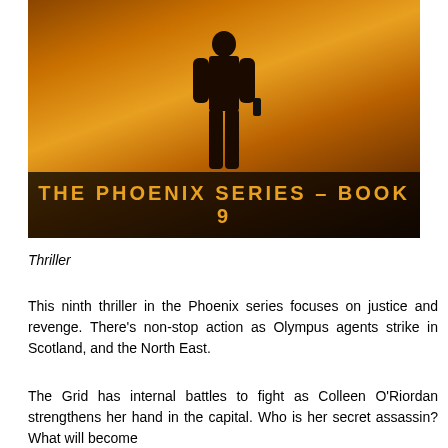[Figure (illustration): Book cover for 'The Phoenix Series - Book 9' showing a dark silhouette of a man holding a gun against an orange/amber glowing background, with the series title in gold letters on a dark banner at the bottom.]
Thriller
This ninth thriller in the Phoenix series focuses on justice and revenge. There’s non-stop action as Olympus agents strike in Scotland, and the North East.
The Grid has internal battles to fight as Colleen O’Riordan strengthens her hand in the capital. Who is her secret assassin? What will become